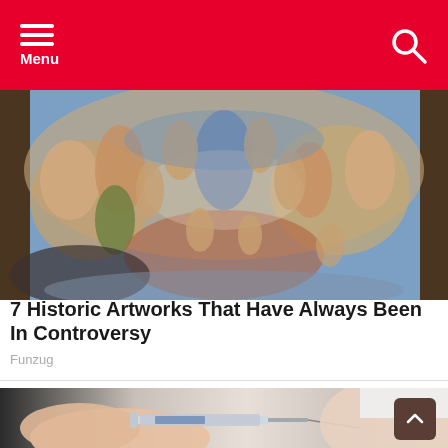Menu
[Figure (photo): Michelangelo's The Last Judgment fresco from the Sistine Chapel, showing numerous human figures]
7 Historic Artworks That Have Always Been In Controversy
Funzug
[Figure (photo): Close-up of gloved hands administering an injection/vaccine with a syringe into a person's arm]